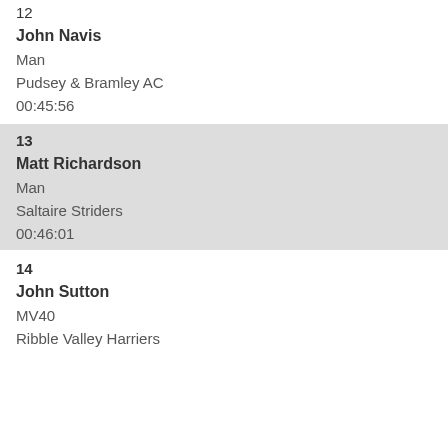12
John Navis
Man
Pudsey & Bramley AC
00:45:56
13
Matt Richardson
Man
Saltaire Striders
00:46:01
14
John Sutton
MV40
Ribble Valley Harriers